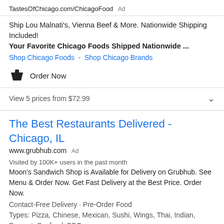TastesOfChicago.com/ChicagoFood Ad
Ship Lou Malnati's, Vienna Beef & More. Nationwide Shipping Included!
Your Favorite Chicago Foods Shipped Nationwide ...
Shop Chicago Foods - Shop Chicago Brands
Order Now
View 5 prices from $72.99
The Best Restaurants Delivered - Chicago, IL
www.grubhub.com Ad
Visited by 100K+ users in the past month
Moon's Sandwich Shop is Available for Delivery on Grubhub. See Menu & Order Now. Get Fast Delivery at the Best Price. Order Now.
Contact-Free Delivery · Pre-Order Food
Types: Pizza, Chinese, Mexican, Sushi, Wings, Thai, Indian, Dessert, Seafood, BBQ
Curbside Pickup